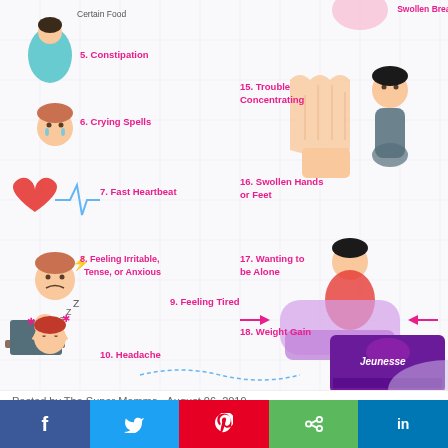[Figure (infographic): Health infographic showing symptoms of PMS numbered 5-10 on the left side (Constipation, Crying Spells, Fast Heartbeat, Feeling Irritable/Tense/Anxious, Feeling Tired, Headache) and symptoms 15-18 on the right side (Trouble Concentrating, Swollen Hands or Feet, Wanting to be Alone, Weight Gain), with illustrated cartoon figures and a product image (Jeunesse) in lower right, on a grid background]
Posted by The Super Momma · August 06, 2019
SIX FOODS THAT TRIGGER PMS
Share    Post a Comment
jollbeeparty.com — browser address bar
Facebook, Twitter, Pinterest, Share, LinkedIn social buttons